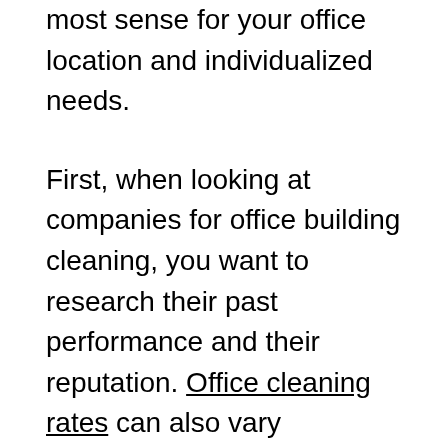most sense for your office location and individualized needs.
First, when looking at companies for office building cleaning, you want to research their past performance and their reputation. Office cleaning rates can also vary drastically based on reputation and their ability to effectively meet scheduling demands. Additionally you will want to see what add on service they offer, like commercial carpet cleaning services or professional handyman services. You can begin your research with online reviews. Also, be sure to check with your friends, family and colleagues to see if they have used a local service for office cleaning services.
Since there is no major mystery to getting your